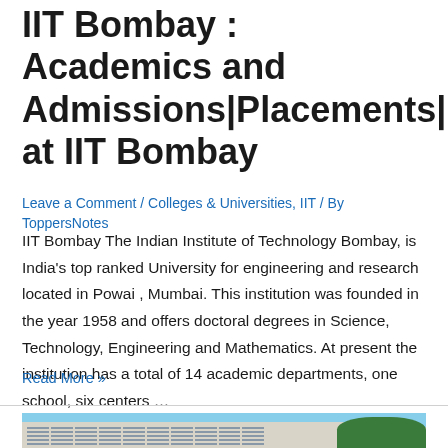IIT Bombay : Academics and Admissions|Placements|Life at IIT Bombay
Leave a Comment / Colleges & Universities, IIT / By ToppersNotes
IIT Bombay The Indian Institute of Technology Bombay, is India's top ranked University for engineering and research  located in Powai , Mumbai. This institution was founded in the year 1958 and offers doctoral degrees in Science, Technology, Engineering and Mathematics. At present the institution has a total of 14 academic departments, one school, six centers …
Read More »
[Figure (photo): Photo of IIT Bombay building exterior — a multi-storey concrete building with grid windows, blue sky background and green tree on the right]